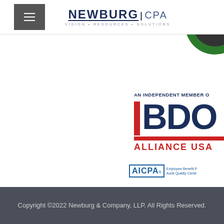NEWBURG|CPA VISION • RESOURCES • SOLUTIONS
[Figure (logo): Partially visible green circle element at top right of content area]
[Figure (logo): BDO Alliance USA logo - AN INDEPENDENT MEMBER OF BDO ALLIANCE USA, with navy blue BDO letters, red vertical bar on left, red underline, and red ALLIANCE USA text]
[Figure (logo): AICPA Employee Benefit Plan Audit Quality Center logo]
Copyright ©2022 Newburg & Company, LLP. All Rights Reserved.